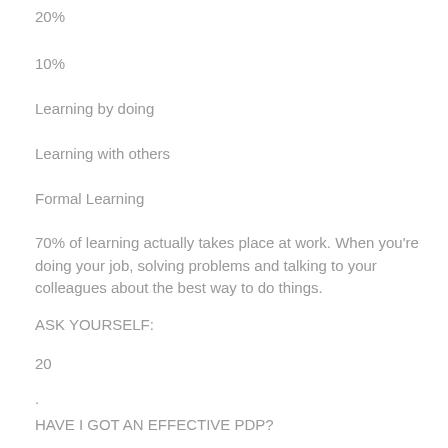20%
10%
Learning by doing
Learning with others
Formal Learning
70% of learning actually takes place at work. When you're doing your job, solving problems and talking to your colleagues about the best way to do things.
ASK YOURSELF:
20
.
HAVE I GOT AN EFFECTIVE PDP?
.